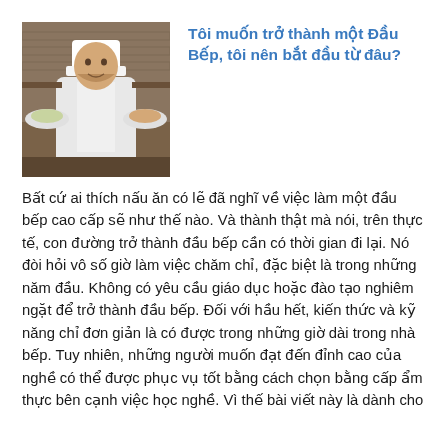[Figure (photo): A male chef in white uniform and chef's hat holding two plates of food in a kitchen setting]
Tôi muốn trở thành một Đầu Bếp, tôi nên bắt đầu từ đâu?
Bất cứ ai thích nấu ăn có lẽ đã nghĩ về việc làm một đầu bếp cao cấp sẽ như thế nào. Và thành thật mà nói, trên thực tế, con đường trở thành đầu bếp cần có thời gian đi lại. Nó đòi hỏi vô số giờ làm việc chăm chỉ, đặc biệt là trong những năm đầu. Không có yêu cầu giáo dục hoặc đào tạo nghiêm ngặt để trở thành đầu bếp. Đối với hầu hết, kiến thức và kỹ năng chỉ đơn giản là có được trong những giờ dài trong nhà bếp. Tuy nhiên, những người muốn đạt đến đỉnh cao của nghề có thể được phục vụ tốt bằng cách chọn bằng cấp ẩm thực bên cạnh việc học nghề. Vì thế bài viết này là dành cho